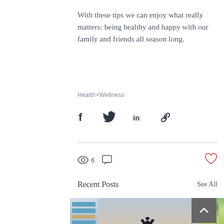With these tips we can enjoy what really matters: being healthy and happy with our family and friends all season long.
Health+Wellness
[Figure (infographic): Social share icons: Facebook (f), Twitter bird, LinkedIn (in), Link/chain icon]
6 views, comment icon, heart/like icon
Recent Posts
See All
[Figure (photo): Three partially visible blog post thumbnail images: left shows blue striped architectural detail, center shows silhouette of person in yoga pose with arms raised against sunset over water, right shows green drink/smoothie]